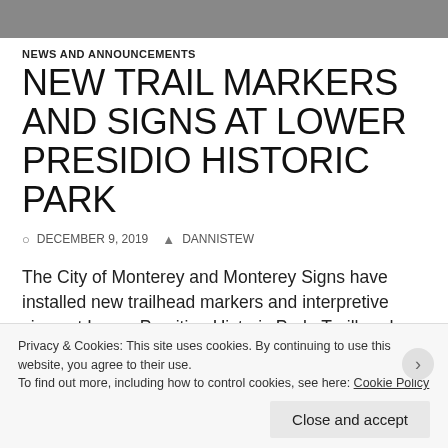[Figure (photo): Partial top image strip, appears to be a trail or park scene]
NEWS AND ANNOUNCEMENTS
NEW TRAIL MARKERS AND SIGNS AT LOWER PRESIDIO HISTORIC PARK
DECEMBER 9, 2019   DANNISTEW
The City of Monterey and Monterey Signs have installed new trailhead markers and interpretive signs at Lower Presition Historic Park. Trailhead markers were placed for visibility, lack of hazard/safety and easy access to groups of people near the s
Privacy & Cookies: This site uses cookies. By continuing to use this website, you agree to their use.
To find out more, including how to control cookies, see here: Cookie Policy

Close and accept